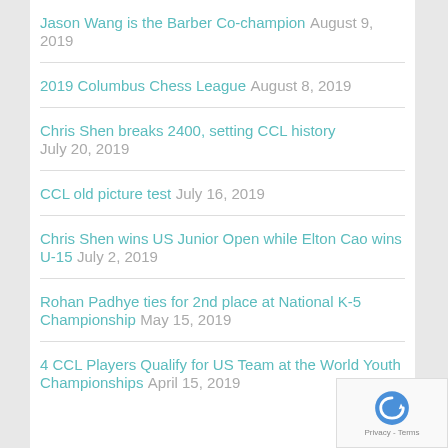Jason Wang is the Barber Co-champion August 9, 2019
2019 Columbus Chess League August 8, 2019
Chris Shen breaks 2400, setting CCL history July 20, 2019
CCL old picture test July 16, 2019
Chris Shen wins US Junior Open while Elton Cao wins U-15 July 2, 2019
Rohan Padhye ties for 2nd place at National K-5 Championship May 15, 2019
4 CCL Players Qualify for US Team at the World Youth Championships April 15, 2019